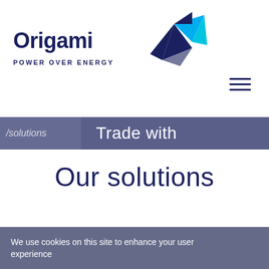[Figure (logo): Origami Power Over Energy logo with origami bird made of dark navy and cyan triangular shapes, and company name 'Origami' in large dark navy bold text with tagline 'POWER OVER ENERGY' below]
[Figure (other): Hamburger menu icon — three horizontal dark navy lines]
solutions   Trade with
Our solutions
We use cookies on this site to enhance your user experience